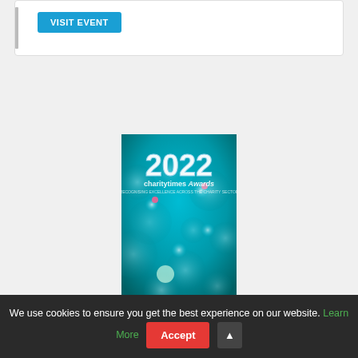VISIT EVENT
[Figure (illustration): Charity Times Awards 2022 vertical banner with teal bokeh bubble background and large '2022' text with 'charitytimes Awards' branding]
We use cookies to ensure you get the best experience on our website. Learn More  Accept